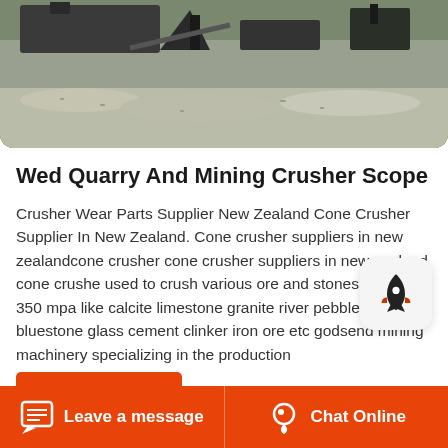[Figure (photo): Aerial/ground view of a quarry or mining crushing operation with heavy machinery and gravel piles]
Wed Quarry And Mining Crusher Scope
Crusher Wear Parts Supplier New Zealand Cone Crusher Supplier In New Zealand. Cone crusher suppliers in new zealandcone crusher cone crusher suppliers in new zealand cone crusher used to crush various ore and stones within 350 mpa like calcite limestone granite river pebbles dolomite bluestone glass cement clinker iron ore etc godsend mining machinery specializing in the production
Leave a message   Chat Online